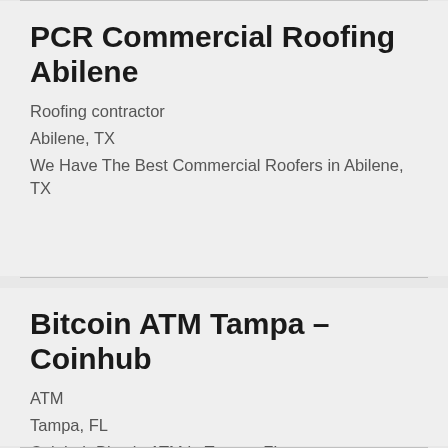PCR Commercial Roofing Abilene
Roofing contractor
Abilene, TX
We Have The Best Commercial Roofers in Abilene, TX
Bitcoin ATM Tampa – Coinhub
ATM
Tampa, FL
Coinhub Bitcoin ATM in Tampa, FL